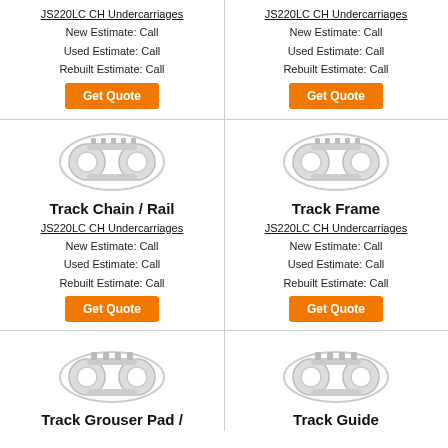JS220LC CH Undercarriages
New Estimate: Call
Used Estimate: Call
Rebuilt Estimate: Call
JS220LC CH Undercarriages
New Estimate: Call
Used Estimate: Call
Rebuilt Estimate: Call
[Figure (illustration): Greyscale illustration of a track undercarriage component]
[Figure (illustration): Greyscale illustration of a track undercarriage component]
Track Chain / Rail
Track Frame
JS220LC CH Undercarriages
New Estimate: Call
Used Estimate: Call
Rebuilt Estimate: Call
JS220LC CH Undercarriages
New Estimate: Call
Used Estimate: Call
Rebuilt Estimate: Call
[Figure (illustration): Greyscale illustration of a track undercarriage component]
[Figure (illustration): Greyscale illustration of a track undercarriage component]
Track Grouser Pad /
Track Guide